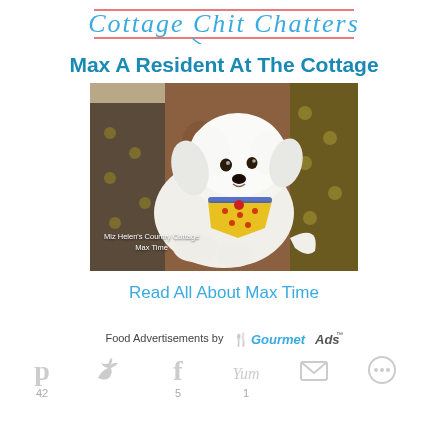Cottage Chit Chatters (script logo)
Max A Resident At The Cottage
[Figure (photo): White fluffy Bichon Frise dog wearing a yellow bandana with red dots, lying on a floral patterned couch. Watermark: 'Miz Helen's Country Cottage / Max Time']
Read All About Max Time
Food Advertisements by GourmetAds
42  5  1 (social share counts for Pinterest, Twitter, Facebook, Yum, Email, More)